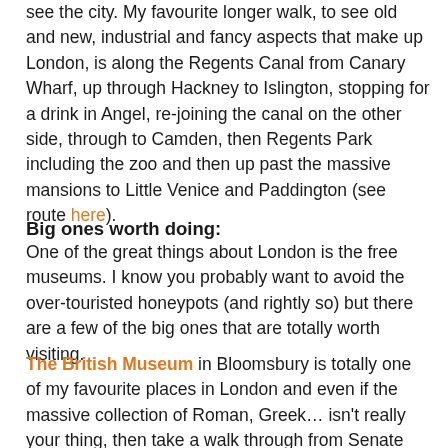see the city. My favourite longer walk, to see old and new, industrial and fancy aspects that make up London, is along the Regents Canal from Canary Wharf, up through Hackney to Islington, stopping for a drink in Angel, re-joining the canal on the other side, through to Camden, then Regents Park including the zoo and then up past the massive mansions to Little Venice and Paddington (see route here).
Big ones worth doing:
One of the great things about London is the free museums. I know you probably want to avoid the over-touristed honeypots (and rightly so) but there are a few of the big ones that are totally worth visiting.
The British Museum in Bloomsbury is totally one of my favourite places in London and even if the massive collection of Roman, Greek… isn't really your thing, then take a walk through from Senate House to Museum Street as the Great Court is an awesome vaulted space filled with soft cool light and a real contrast to the wood panelling elsewhere.